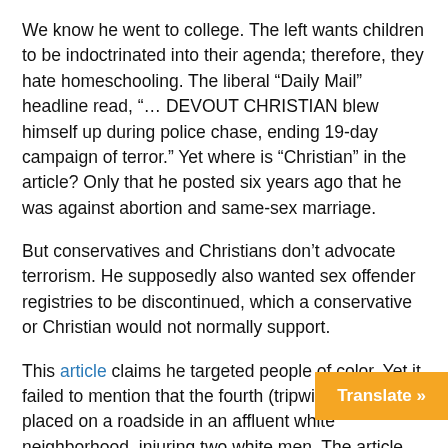We know he went to college. The left wants children to be indoctrinated into their agenda; therefore, they hate homeschooling. The liberal “Daily Mail” headline read, “… DEVOUT CHRISTIAN blew himself up during police chase, ending 19-day campaign of terror.” Yet where is “Christian” in the article? Only that he posted six years ago that he was against abortion and same-sex marriage.
But conservatives and Christians don’t advocate terrorism. He supposedly also wanted sex offender registries to be discontinued, which a conservative or Christian would not normally support.
This article claims he targeted people of color. Yet it failed to mention that the fourth (tripwire) bomb was placed on a roadside in an affluent white neighborhood, injuring two white men. The article also claims that using the words “the outcry of a very challenged young man” is being sympathetic because he was white. Outcry means “an exclamation or shout;” a strong expression of disapproval sympathetic? But liberal media is quick to
Translate »